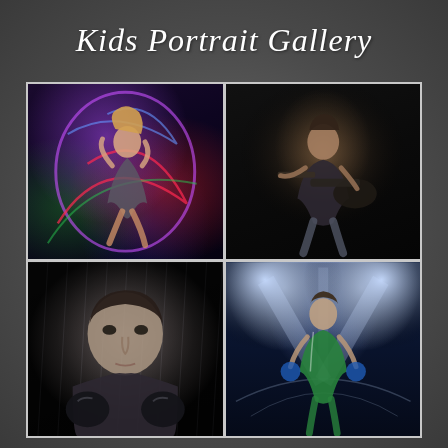Kids Portrait Gallery
[Figure (photo): Portrait of a girl dancing/martial arts pose with colorful light painting swirls (purple, red, green) against dark background]
[Figure (photo): Portrait of a teenage boy sitting and playing electric guitar in dramatic dark studio lighting]
[Figure (photo): Black and white portrait of a teenage boy in boxing gloves with rain effect in dark studio]
[Figure (photo): Portrait of a teenage boy in green sports jersey standing in front of stadium lights/spotlight effects]